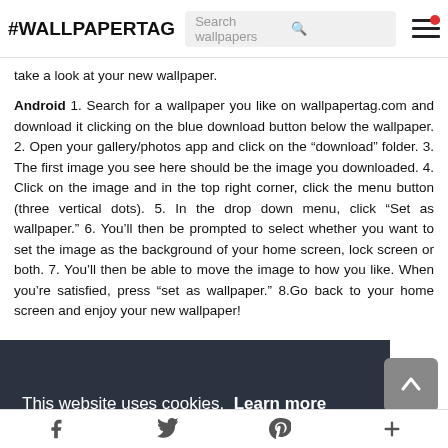#WALLPAPERTAG  [Search wallpapers]
take a look at your new wallpaper.
Android 1. Search for a wallpaper you like on wallpapertag.com and download it clicking on the blue download button below the wallpaper. 2. Open your gallery/photos app and click on the "download" folder. 3. The first image you see here should be the image you downloaded. 4. Click on the image and in the top right corner, click the menu button (three vertical dots). 5. In the drop down menu, click “Set as wallpaper.” 6. You’ll then be prompted to select whether you want to set the image as the background of your home screen, lock screen or both. 7. You’ll then be able to move the image to how you like. When you’re satisfied, press “set as wallpaper.” 8.Go back to your home screen and enjoy your new wallpaper!
This website uses cookies. Learn more
Got it!
f  [twitter]  p  +